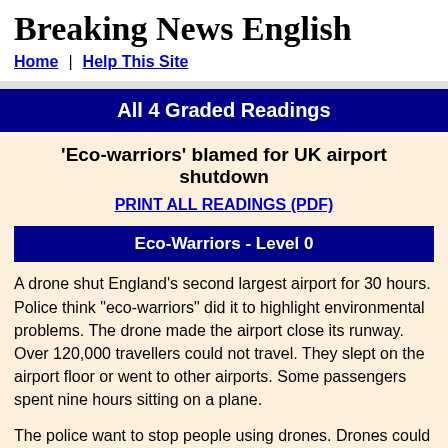Breaking News English
Home | Help This Site
All 4 Graded Readings
'Eco-warriors' blamed for UK airport shutdown
PRINT ALL READINGS (PDF)
Eco-Warriors - Level 0
A drone shut England's second largest airport for 30 hours. Police think "eco-warriors" did it to highlight environmental problems. The drone made the airport close its runway. Over 120,000 travellers could not travel. They slept on the airport floor or went to other airports. Some passengers spent nine hours sitting on a plane.
The police want to stop people using drones. Drones could attack other important buildings or make a plane crash. Police tried many times to stop the drone. When they tried to reopen the airport, the drone came again. The police couldn't find the drone's user. The user could get five years in jail.